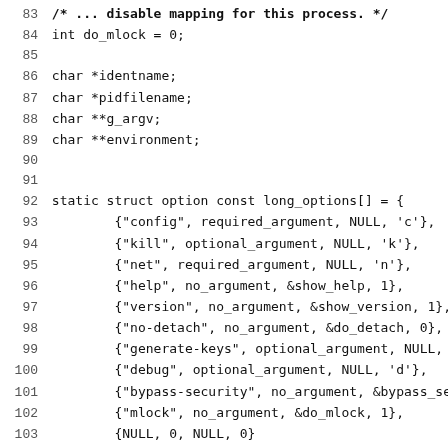[Figure (other): Source code listing in C, lines 83-115, showing variable declarations (do_mlock, identname, pidfilename, g_argv, environment), a static struct option array long_options[], and the beginning of a static void usage(int status) function.]